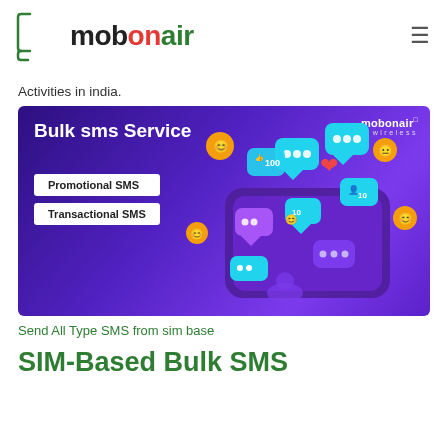mobonair
Activities in india.
[Figure (illustration): Bulk SMS Service promotional banner with purple/violet background, showing a smartphone with floating chat bubbles, emoji icons, like/heart icons, and notification badges. Text on banner: 'Bulk sms Service', 'Promotional SMS', 'Transactional SMS', 'mobonair wireless' logo top right.]
Send All Type SMS from sim base
SIM-Based Bulk SMS